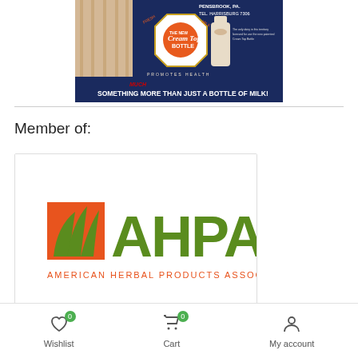[Figure (photo): Vintage milk advertisement showing 'Cream Top Bottle' with text 'SOMETHING MORE THAN JUST A BOTTLE OF MILK!' from Pensbrook, PA, Tel Harrisburg 7306]
Member of:
[Figure (logo): American Herbal Products Association (AHPA) logo with orange and green leaf design]
Wishlist 0  Cart 0  My account